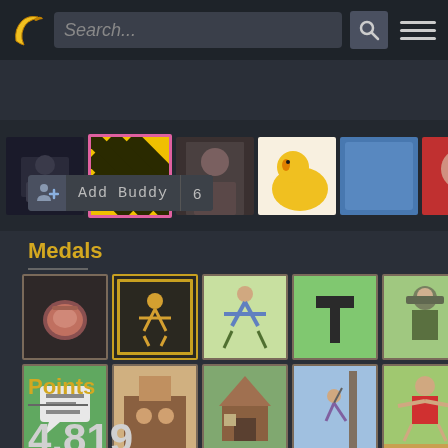[Figure (screenshot): Top navigation bar with banana logo, search box, and hamburger menu]
[Figure (screenshot): Horizontal strip of user avatar thumbnails, second one selected with pink border]
[Figure (screenshot): Add Buddy button with person icon and count of 6]
Medals
[Figure (screenshot): Grid of 14 game medal icons in two rows of 7]
Points
4,819